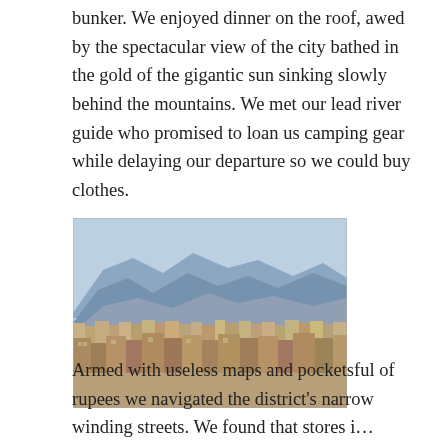bunker. We enjoyed dinner on the roof, awed by the spectacular view of the city bathed in the gold of the gigantic sun sinking slowly behind the mountains. We met our lead river guide who promised to loan us camping gear while delaying our departure so we could buy clothes.
[Figure (photo): Aerial cityscape photograph of a densely packed urban area with terracotta and brick buildings in the foreground, and large mountain ranges in the background under a hazy blue sky. Likely Kathmandu, Nepal.]
Armed with useless maps and pocketsful of rupees we navigated the district's narrow winding streets. We found that stores i...